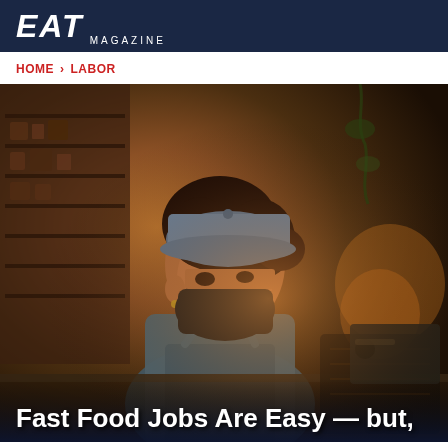EAT Magazine
HOME > LABOR
[Figure (photo): A female food service worker wearing a blue cap, black face mask, and denim apron works at a counter in a restaurant. Warm amber and brown tones fill the background with shelving and equipment visible.]
Fast Food Jobs Are Easy — but,